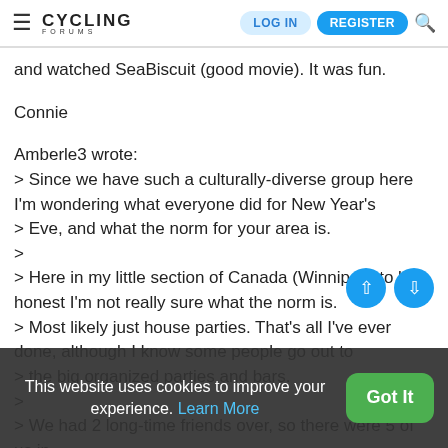Cycling Forums — LOG IN | REGISTER
and watched SeaBiscuit (good movie). It was fun.
Connie
Amberle3 wrote:
> Since we have such a culturally-diverse group here I'm wondering what everyone did for New Year's
> Eve, and what the norm for your area is.
>
> Here in my little section of Canada (Winnipeg) to be honest I'm not really sure what the norm is.
> Most likely just house parties. That's all I've ever done, although I know some people go out to
> the big organized parties and bars.
>
> We had 2 long-time friends over, so there were 5 of us in
This website uses cookies to improve your experience. Learn More